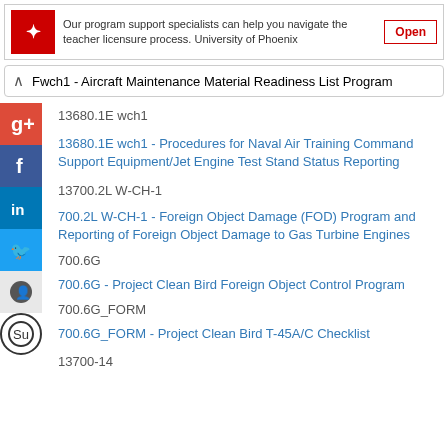[Figure (infographic): University of Phoenix advertisement banner with red logo, text about program support specialists helping navigate teacher licensure process, and an Open button]
Fwch1 - Aircraft Maintenance Material Readiness List Program
13680.1E wch1
13680.1E wch1 - Procedures for Naval Air Training Command Support Equipment/Jet Engine Test Stand Status Reporting
13700.2L W-CH-1
13700.2L W-CH-1 - Foreign Object Damage (FOD) Program and Reporting of Foreign Object Damage to Gas Turbine Engines
13700.6G
13700.6G - Project Clean Bird Foreign Object Control Program
13700.6G_FORM
13700.6G_FORM - Project Clean Bird T-45A/C Checklist
13700-14